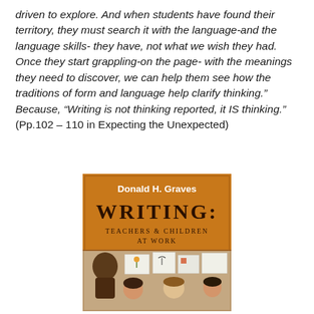driven to explore. And when students have found their territory, they must search it with the language-and the language skills- they have, not what we wish they had. Once they start grappling-on the page- with the meanings they need to discover, we can help them see how the traditions of form and language help clarify thinking." Because, "Writing is not thinking reported, it IS thinking." (Pp.102 – 110 in Expecting the Unexpected)
[Figure (photo): Book cover of 'Writing: Teachers & Children at Work' by Donald H. Graves. Orange background with bold black/dark title text and subtitle, with a photo of children and their artwork at the bottom.]